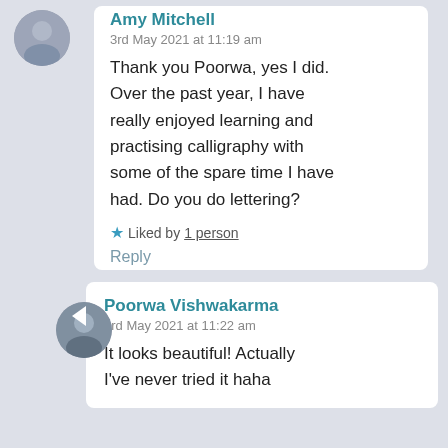Amy Mitchell
3rd May 2021 at 11:19 am
Thank you Poorwa, yes I did. Over the past year, I have really enjoyed learning and practising calligraphy with some of the spare time I have had. Do you do lettering?
Liked by 1 person
Reply
Poorwa Vishwakarma
3rd May 2021 at 11:22 am
It looks beautiful! Actually I've never tried it haha